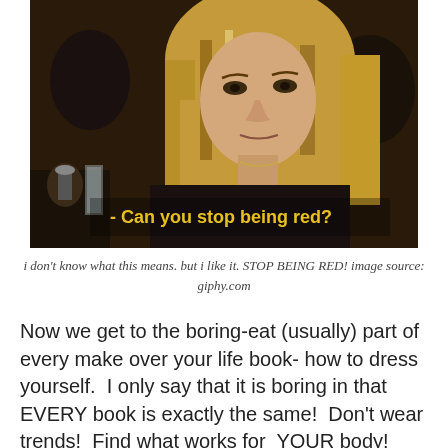[Figure (photo): A woman with long blonde hair in a restaurant/cafe setting. Yellow bold subtitle text overlaid on the image reads: '- Can you stop being red?']
i don't know what this means. but i like it. STOP BEING RED! image source: giphy.com
Now we get to the boring-eat (usually) part of every make over your life book- how to dress yourself.  I only say that it is boring in that EVERY book is exactly the same!  Don't wear trends!  Find what works for  YOUR body!  Buy these classic